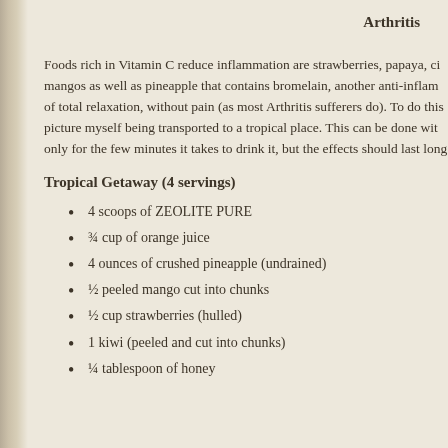Arthritis
Foods rich in Vitamin C reduce inflammation are strawberries, papaya, ci mangos as well as pineapple that contains bromelain, another anti-inflam of total relaxation, without pain (as most Arthritis sufferers do). To do this picture myself being transported to a tropical place. This can be done wit only for the few minutes it takes to drink it, but the effects should last long
Tropical Getaway (4 servings)
4 scoops of ZEOLITE PURE
¾ cup of orange juice
4 ounces of crushed pineapple (undrained)
½ peeled mango cut into chunks
½ cup strawberries (hulled)
1 kiwi (peeled and cut into chunks)
¼ tablespoon of honey